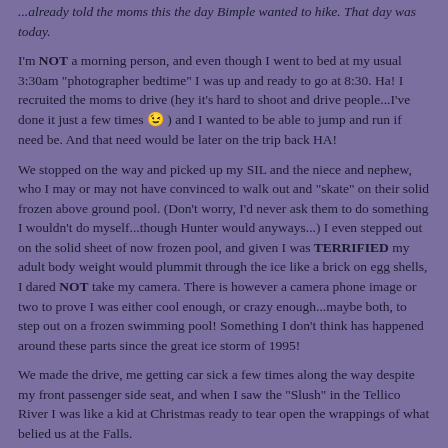...already told the moms this the day Bimple wanted to hike. That day was today.
I'm NOT a morning person, and even though I went to bed at my usual 3:30am "photographer bedtime" I was up and ready to go at 8:30. Ha! I recruited the moms to drive (hey it's hard to shoot and drive people...I've done it just a few times 😉 ) and I wanted to be able to jump and run if need be. And that need would be later on the trip back HA!
We stopped on the way and picked up my SIL and the niece and nephew, who I may or may not have convinced to walk out and "skate" on their solid frozen above ground pool. (Don't worry, I'd never ask them to do something I wouldn't do myself...though Hunter would anyways...) I even stepped out on the solid sheet of now frozen pool, and given I was TERRIFIED my adult body weight would plummit through the ice like a brick on egg shells, I dared NOT take my camera. There is however a camera phone image or two to prove I was either cool enough, or crazy enough...maybe both, to step out on a frozen swimming pool! Something I don't think has happened around these parts since the great ice storm of 1995!
We made the drive, me getting car sick a few times along the way despite my front passenger side seat, and when I saw the "Slush" in the Tellico River I was like a kid at Christmas ready to tear open the wrappings of what belied us at the Falls.
When we passed a "whited out" spot in the river I wanted to stop on the way up, but mother dearest cried "Can't stop! I'm on a mission!" but you better believe she slowed down to gawk at some icecicles hanging from the moss (which I snagged a shot of on the way back...you'll see in a moment). "BOOOOOO!" I thought begrudingly, but I WOULD get that shot on the way back...I WOULD capture the completely frozen from one side to the other, water flowing UNDER the white ice